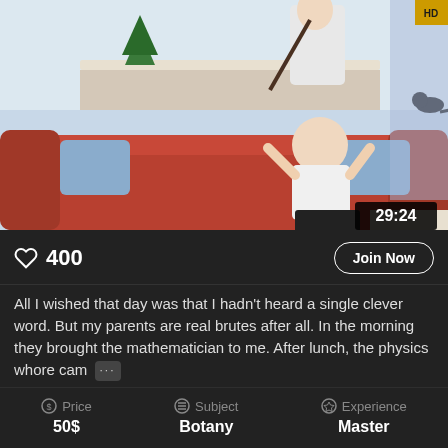[Figure (photo): A scene in a living room/kitchen area with a red couch, a woman in white top and black skirt sitting on the couch with hands raised, and a man standing behind. A timestamp '29:24' is overlaid in the bottom right corner.]
400
Join Now
All I wished that day was that I hadn't heard a single clever word. But my parents are real brutes after all. In the morning they brought the mathematician to me. After lunch, the physics whore cam [...]
Price
50$
Subject
Botany
Experience
Master
> JOIN NOW <